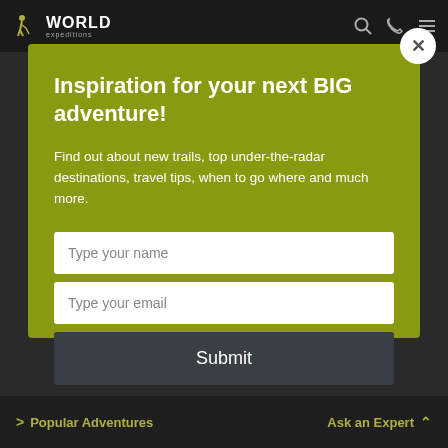WORLD expeditions
Inspiration for your next BIG adventure!
Find out about new trails, top under-the-radar destinations, travel tips, when to go where and much more.
Type your name
Type your email
Submit
> Popular Adventures    Ask an Expert ^